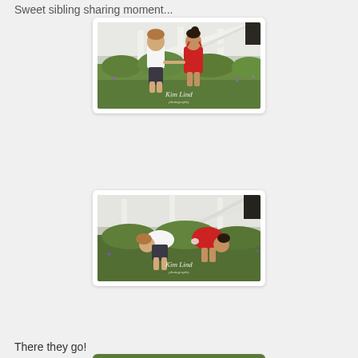Sweet sibling sharing moment...
[Figure (photo): Two young children — a boy in a white shirt and patterned shorts and a girl in a red romper — holding hands and facing each other in a green garden with white fence, watermark reads Kim Lind photography]
[Figure (photo): The same two children bent over looking at something in the garden bushes, same outfits, watermark reads Kim Lind photography]
There they go!
[Figure (photo): Third photo partially visible at the bottom of the page, garden setting]